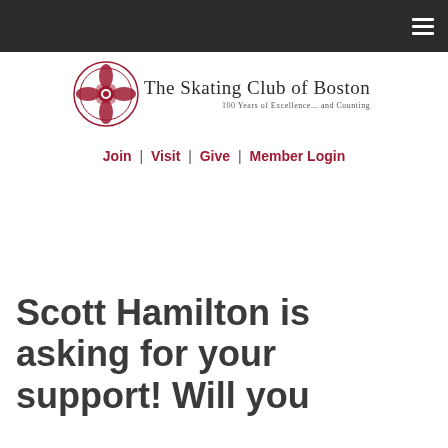[Figure (logo): The Skating Club of Boston logo — decorative cross/floral emblem in dark red with text 'The Skating Club of Boston' and subtitle '100 Years of Excellence... and Counting']
Join | Visit | Give | Member Login
Scott Hamilton is asking for your support! Will you